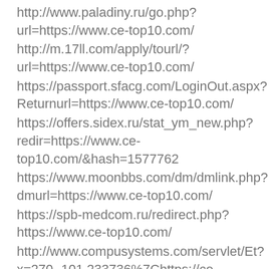http://www.paladiny.ru/go.php?url=https://www.ce-top10.com/
http://m.17ll.com/apply/tourl/?url=https://www.ce-top10.com/
https://passport.sfacg.com/LoginOut.aspx?Returnurl=https://www.ce-top10.com/
https://offers.sidex.ru/stat_ym_new.php?redir=https://www.ce-top10.com/&hash=1577762
https://www.moonbbs.com/dm/dmlink.php?dmurl=https://www.ce-top10.com/
https://spb-medcom.ru/redirect.php?https://www.ce-top10.com/
http://www.compusystems.com/servlet/Et?x=270.-101.233736%7Chttps://ce-top10.com/